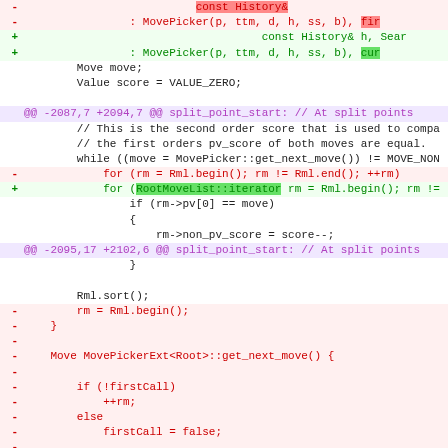[Figure (screenshot): A code diff view showing changes to C++ source code involving MovePicker and RootMoveList iterators, with red lines indicating removed code and green lines indicating added code, including hunk headers and context lines.]